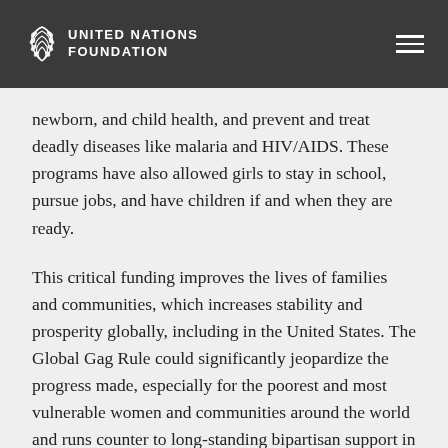United Nations Foundation
newborn, and child health, and prevent and treat deadly diseases like malaria and HIV/AIDS. These programs have also allowed girls to stay in school, pursue jobs, and have children if and when they are ready.
This critical funding improves the lives of families and communities, which increases stability and prosperity globally, including in the United States. The Global Gag Rule could significantly jeopardize the progress made, especially for the poorest and most vulnerable women and communities around the world and runs counter to long-standing bipartisan support in Congress and in the American public.